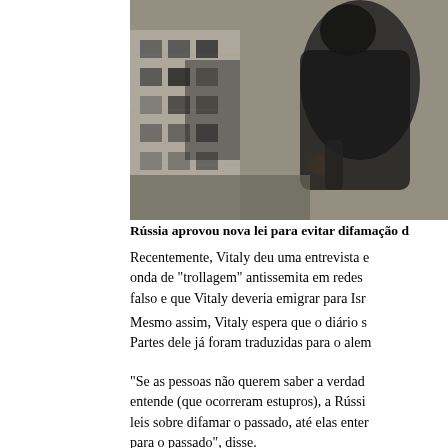[Figure (photo): Black and white photograph showing a person crouching or bending near a damaged or burned building facade, wartime or conflict imagery.]
Rússia aprovou nova lei para evitar difamação d
Recentemente, Vitaly deu uma entrevista e onda de "trollagem" antissemita em redes falso e que Vitaly deveria emigrar para Isr
Mesmo assim, Vitaly espera que o diário s Partes dele já foram traduzidas para o alem
"Se as pessoas não querem saber a verdad entende (que ocorreram estupros), a Rússi leis sobre difamar o passado, até elas enter para o passado", disse.